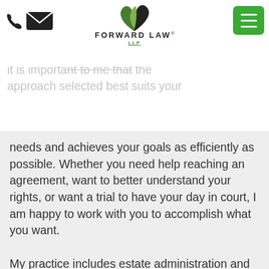Forward Law LLP — logo and navigation header
faced with. It is important to me that the approach selected best suits your needs and achieves your goals as efficiently as possible. Whether you need help reaching an agreement, want to better understand your rights, or want a trial to have your day in court, I am happy to work with you to accomplish what you want.

My practice includes estate administration and disputes, in which I have represented executors, beneficiaries, and family members who have been disinherited. These